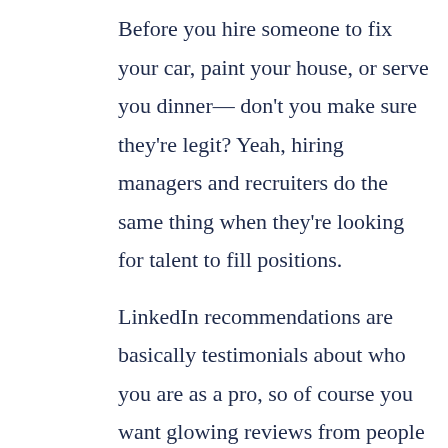Before you hire someone to fix your car, paint your house, or serve you dinner—don't you make sure they're legit? Yeah, hiring managers and recruiters do the same thing when they're looking for talent to fill positions.
LinkedIn recommendations are basically testimonials about who you are as a pro, so of course you want glowing reviews from people you've worked with. Subordinates, colleagues, and superiors—their perspectives matter, and their